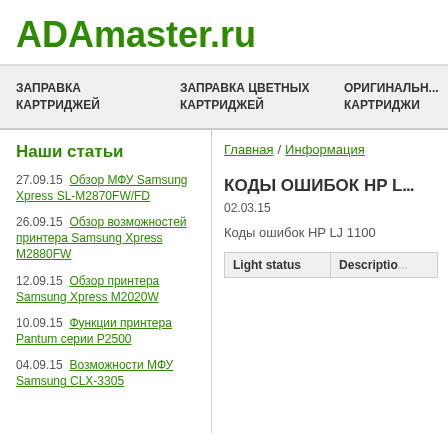ADAmaster.ru
ЗАПРАВКА КАРТРИДЖЕЙ / ЗАПРАВКА ЦВЕТНЫХ КАРТРИДЖЕЙ / ОРИГИНАЛЬНЫЕ КАРТРИДЖИ
Наши статьи
27.09.15 Обзор МФУ Samsung Xpress SL-M2870FW/FD
26.09.15 Обзор возможностей принтера Samsung Xpress M2880FW
12.09.15 Обзор принтера Samsung Xpress M2020W
10.09.15 Функции принтера Pantum серии P2500
04.09.15 Возможности МФУ Samsung CLX-3305
Главная / Информация
КОДЫ ОШИБОК HP L...
02.03.15
Коды ошибок HP LJ 1100
| Light status | Description |
| --- | --- |